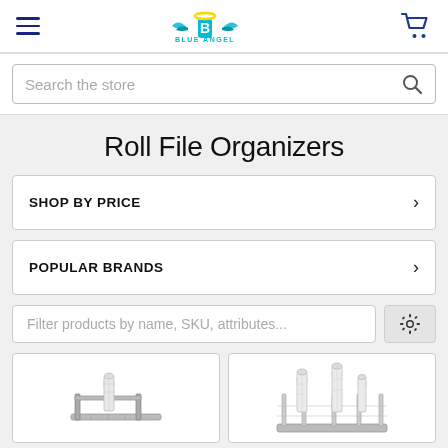Blue Angel store header with hamburger menu, logo, and cart icon
Search the store
Roll File Organizers
SHOP BY PRICE
POPULAR BRANDS
Filter products by name, SKU, attributes...
[Figure (photo): Roll file organizer product image left]
[Figure (photo): Roll file organizer product image right]